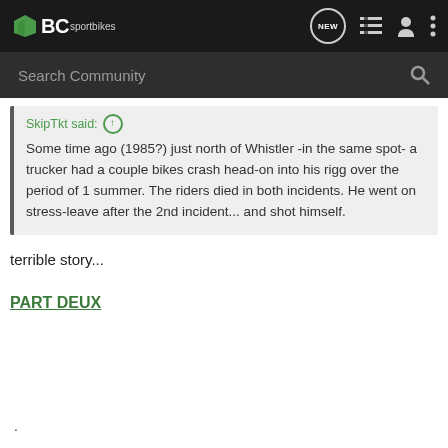BC sportbikes
Search Community
SkipTkt said: ↑
Some time ago (1985?) just north of Whistler -in the same spot- a trucker had a couple bikes crash head-on into his rigg over the period of 1 summer. The riders died in both incidents. He went on stress-leave after the 2nd incident... and shot himself.
terrible story...
PART DEUX
.